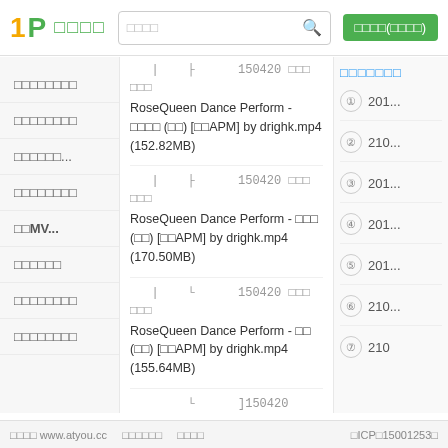1P 图片大全 [search box] 登录/注册(免费注册)
国产自拍视频
日韩精品视频
欧美高清...
综合精品视频
高清MV...
成人动漫视频
最新上传视频
最热下载视频
| ├ 150420 ■■■ ■■■
RoseQueen Dance Perform - ■■■■ (■■) [■■APM] by drighk.mp4 (152.82MB)
| ├ 150420 ■■■ ■■■
RoseQueen Dance Perform - ■■■ (■■) [■■APM] by drighk.mp4 (170.50MB)
| └ 150420 ■■■ ■■■
RoseQueen Dance Perform - ■■ (■■) [■■APM] by drighk.mp4 (155.64MB)
└ ]150420 Rose Queen ■■apm ■■■(Rose Queen) ■■■■ ■■ by ■■■■.mp4 (2.34GB)
■■■■■■■
① 201...
② 210...
③ 201...
④ 201...
⑤ 201...
⑥ 210...
⑦ 210
资源来 www.atyou.cc   关于我们   联系我们   ■ICP■15001253■